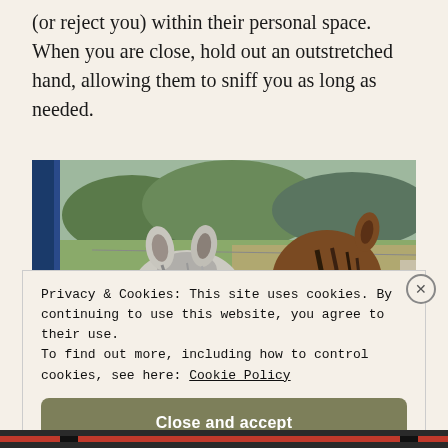(or reject you) within their personal space. When you are close, hold out an outstretched hand, allowing them to sniff you as long as needed.
[Figure (photo): View from behind two horses showing their ears and manes, with a green field and trees in the background visible through a blue fence/gate on the left.]
Privacy & Cookies: This site uses cookies. By continuing to use this website, you agree to their use. To find out more, including how to control cookies, see here: Cookie Policy
Close and accept